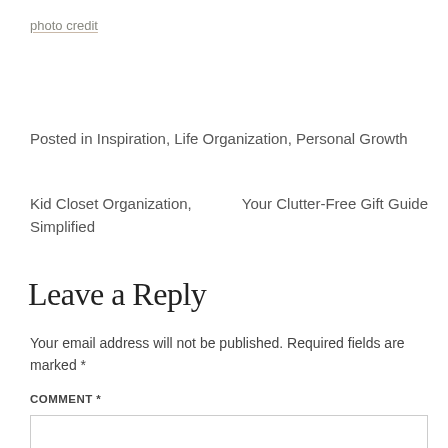photo credit
Posted in Inspiration, Life Organization, Personal Growth
Kid Closet Organization, Simplified      Your Clutter-Free Gift Guide
Leave a Reply
Your email address will not be published. Required fields are marked *
COMMENT *